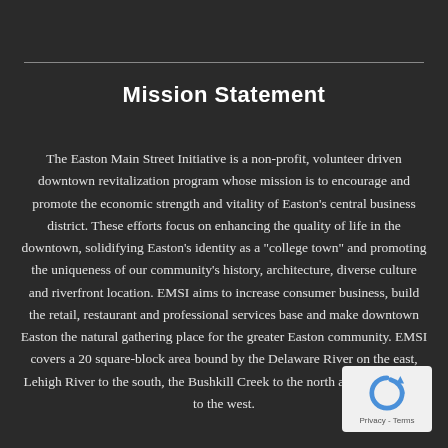Mission Statement
The Easton Main Street Initiative is a non-profit, volunteer driven downtown revitalization program whose mission is to encourage and promote the economic strength and vitality of Easton's central business district. These efforts focus on enhancing the quality of life in the downtown, solidifying Easton's identity as a "college town" and promoting the uniqueness of our community's history, architecture, diverse culture and riverfront location. EMSI aims to increase consumer business, build the retail, restaurant and professional services base and make downtown Easton the natural gathering place for the greater Easton community. EMSI covers a 20 square-block area bound by the Delaware River on the east, Lehigh River to the south, the Bushkill Creek to the north and Sixth Street to the west.